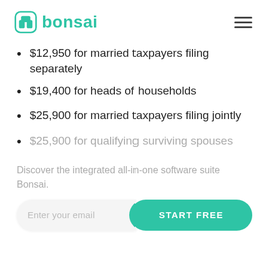bonsai
$12,950 for married taxpayers filing separately
$19,400 for heads of households
$25,900 for married taxpayers filing jointly
$25,900 for qualifying surviving spouses
Discover the integrated all-in-one software suite Bonsai.